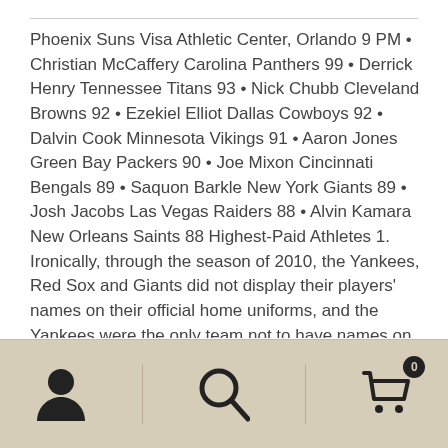Phoenix Suns Visa Athletic Center, Orlando 9 PM • Christian McCaffery Carolina Panthers 99 • Derrick Henry Tennessee Titans 93 • Nick Chubb Cleveland Browns 92 • Ezekiel Elliot Dallas Cowboys 92 • Dalvin Cook Minnesota Vikings 91 • Aaron Jones Green Bay Packers 90 • Joe Mixon Cincinnati Bengals 89 • Saquon Barkle New York Giants 89 • Josh Jacobs Las Vegas Raiders 88 • Alvin Kamara New Orleans Saints 88 Highest-Paid Athletes 1. Ironically, through the season of 2010, the Yankees, Red Sox and Giants did not display their players' names on their official home uniforms, and the Yankees were the only team not to have names on official road jerseys. Megan Rapinoe 2.
[Figure (other): Bottom navigation bar with three icons: user/person icon, search/magnifying glass icon, and shopping cart icon with badge showing 0]